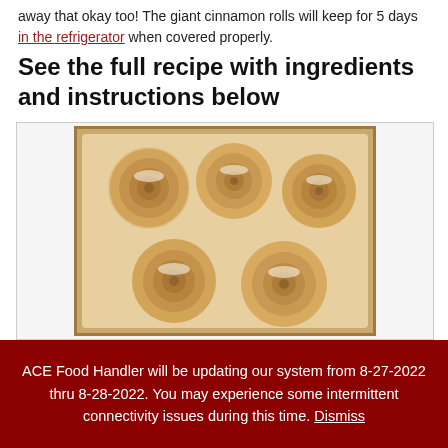away that okay too! The giant cinnamon rolls will keep for 5 days in the refrigerator when covered properly.
See the full recipe with ingredients and instructions below
[Figure (photo): Overhead photo of giant cinnamon rolls in a glass baking dish, lightly glazed with icing]
ACE Food Handler will be updating our system from 8-27-2022 thru 8-28-2022. You may experience some intermittent connectivity issues during this time. Dismiss